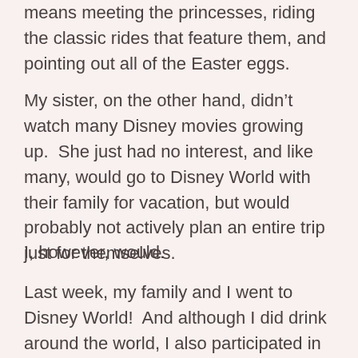means meeting the princesses, riding the classic rides that feature them, and pointing out all of the Easter eggs.
My sister, on the other hand, didn't watch many Disney movies growing up.  She just had no interest, and like many, would go to Disney World with their family for vacation, but would probably not actively plan an entire trip just for themselves.
I, however, would.
Last week, my family and I went to Disney World!  And although I did drink around the world, I also participated in more of the kid-friendly activities, such as meeting characters, buying Minnie